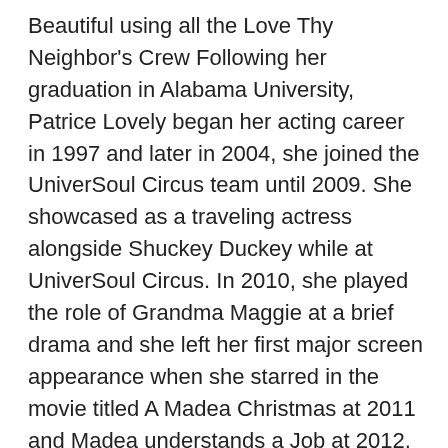Beautiful using all the Love Thy Neighbor's Crew Following her graduation in Alabama University, Patrice Lovely began her acting career in 1997 and later in 2004, she joined the UniverSoul Circus team until 2009. She showcased as a traveling actress alongside Shuckey Duckey while at UniverSoul Circus. In 2010, she played the role of Grandma Maggie at a brief drama and she left her first major screen appearance when she starred in the movie titled A Madea Christmas at 2011 and Madea understands a Job at 2012. Afterward, she included different sitcoms along with Tyler Perry's videos such as I Don 't want to Do Wrong in 2012 and The Ha v es and the Ha vie Nots the exact same calendar year. Patrice Lovely has continued to stay in the spotlight, so captivating the hearts of the many lovers. Some of the other films include Hell